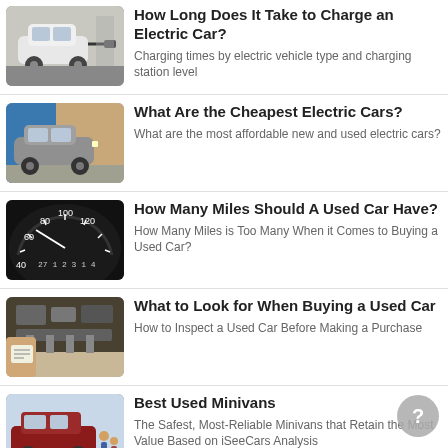How Long Does It Take to Charge an Electric Car? — Charging times by electric vehicle type and charging station level
What Are the Cheapest Electric Cars? — What are the most affordable new and used electric cars?
How Many Miles Should A Used Car Have? — How Many Miles is Too Many When it Comes to Buying a Used Car?
What to Look for When Buying a Used Car — How to Inspect a Used Car Before Making a Purchase
Best Used Minivans — The Safest, Most-Reliable Minivans that Retain the Most Value Based on iSeeCars Analysis